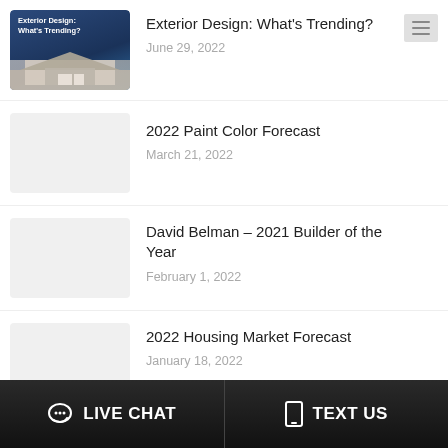[Figure (screenshot): Thumbnail image for blog post 'Exterior Design: What's Trending?' showing a house exterior with navy blue text overlay on the image.]
Exterior Design: What's Trending?
June 29, 2022
[Figure (photo): Placeholder thumbnail image with circle icon for '2022 Paint Color Forecast' article.]
2022 Paint Color Forecast
March 21, 2022
[Figure (photo): Placeholder thumbnail image with circle icon for 'David Belman – 2021 Builder of the Year' article.]
David Belman – 2021 Builder of the Year
February 1, 2022
[Figure (photo): Placeholder thumbnail image with circle icon for '2022 Housing Market Forecast' article.]
2022 Housing Market Forecast
January 18, 2022
LIVE CHAT   TEXT US